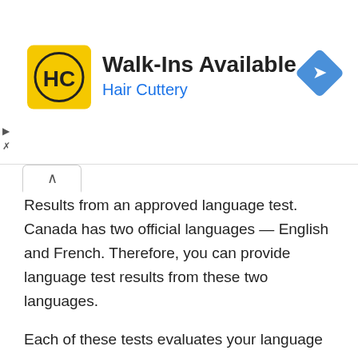[Figure (screenshot): Advertisement banner for Hair Cuttery with yellow HC logo, 'Walk-Ins Available' text, blue 'Hair Cuttery' subtitle, and a blue diamond navigation icon on the right.]
Results from an approved language test. Canada has two official languages — English and French. Therefore, you can provide language test results from these two languages.
Each of these tests evaluates your language skills on four parameters: speaking, reading, listening, and writing.
Must Read: Study and Work in Canada (Everything You Need to Know)